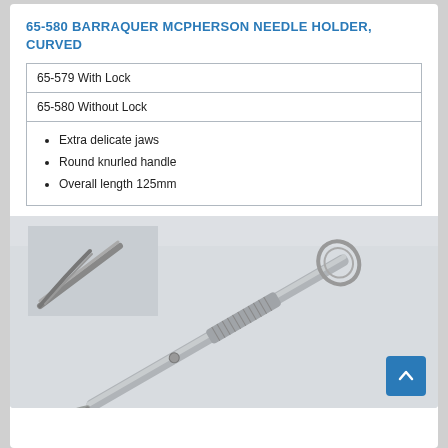65-580 BARRAQUER MCPHERSON NEEDLE HOLDER, CURVED
| 65-579 With Lock |
| 65-580 Without Lock |
Extra delicate jaws
Round knurled handle
Overall length 125mm
[Figure (photo): Photograph of the Barraquer McPherson needle holder, curved — a stainless steel surgical needle holder with round knurled handle and curved jaws, shown with a close-up inset of the curved tip in the upper left corner.]